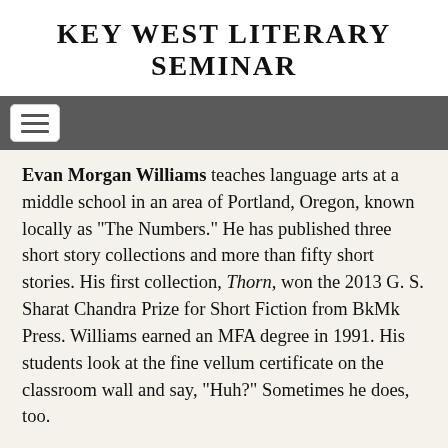KEY WEST LITERARY SEMINAR
Evan Morgan Williams teaches language arts at a middle school in an area of Portland, Oregon, known locally as “The Numbers.” He has published three short story collections and more than fifty short stories. His first collection, Thorn, won the 2013 G. S. Sharat Chandra Prize for Short Fiction from BkMk Press. Williams earned an MFA degree in 1991. His students look at the fine vellum certificate on the classroom wall and say, “Huh?” Sometimes he does, too.
[Figure (photo): Partial view of a person outdoors, cropped at bottom of page]